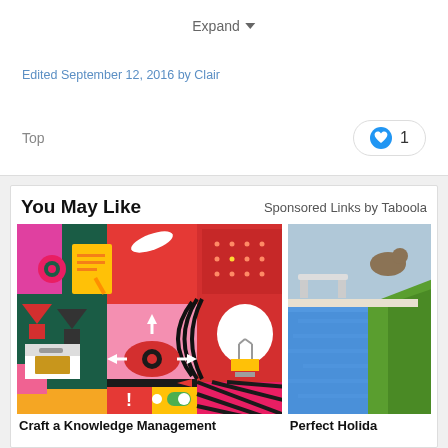Expand
Edited September 12, 2016 by Clair
Top
1
You May Like
Sponsored Links by Taboola
[Figure (illustration): Colorful flat design illustration showing knowledge management icons: gears, documents, arrows, eye with crosshair, lightbulb, tools]
Craft a Knowledge Management
[Figure (photo): Photo of a swimming pool area with green grass and pool water]
Perfect Holida